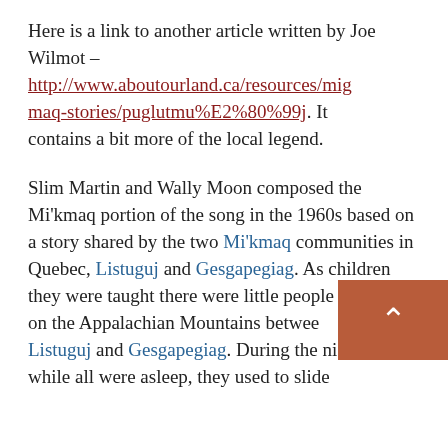Here is a link to another article written by Joe Wilmot – http://www.aboutourland.ca/resources/migmaq-stories/puglutmu%E2%80%99j. It contains a bit more of the local legend.
Slim Martin and Wally Moon composed the Mi'kmaq portion of the song in the 1960s based on a story shared by the two Mi'kmaq communities in Quebec, Listuguj and Gesgapegiag. As children they were taught there were little people who lived on the Appalachian Mountains between Listuguj and Gesgapegiag. During the night time while all were asleep, they used to slide